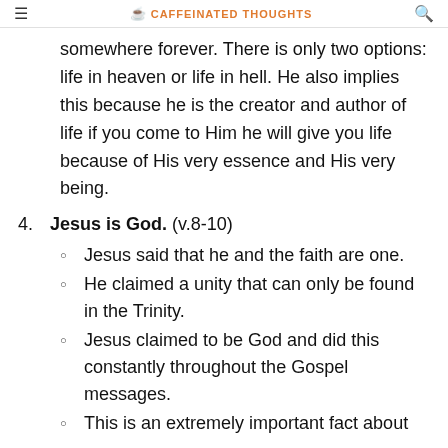CAFFEINATED THOUGHTS
somewhere forever. There is only two options: life in heaven or life in hell. He also implies this because he is the creator and author of life if you come to Him he will give you life because of His very essence and His very being.
4. Jesus is God. (v.8-10)
Jesus said that he and the faith are one.
He claimed a unity that can only be found in the Trinity.
Jesus claimed to be God and did this constantly throughout the Gospel messages.
This is an extremely important fact about